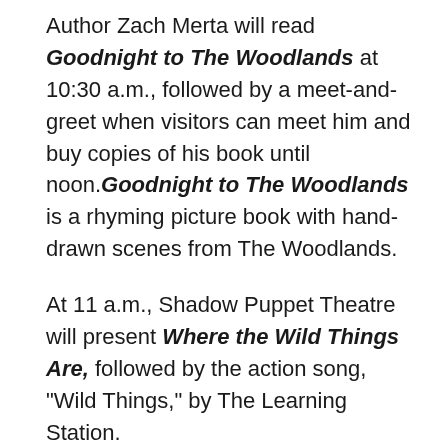Author Zach Merta will read Goodnight to The Woodlands at 10:30 a.m., followed by a meet-and-greet when visitors can meet him and buy copies of his book until noon. Goodnight to The Woodlands is a rhyming picture book with hand-drawn scenes from The Woodlands.
At 11 a.m., Shadow Puppet Theatre will present Where the Wild Things Are, followed by the action song, "Wild Things," by The Learning Station.
Friday, May 3
Storybook Theatre will feature a Pete the Cat Meet